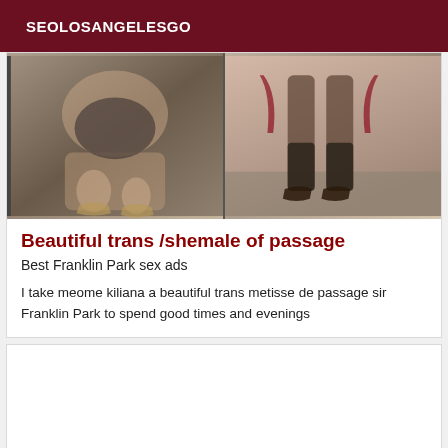SEOLOSANGELESGO
[Figure (photo): Two photos side by side showing legs and feet in heels against a dark background on left and pink wall background on right]
Beautiful trans /shemale of passage
Best Franklin Park sex ads
I take meome kiliana a beautiful trans metisse de passage sir Franklin Park to spend good times and evenings